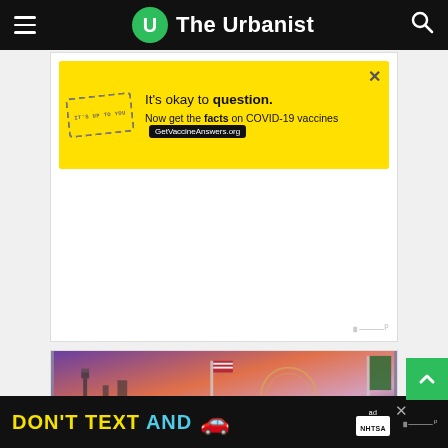The Urbanist
[Figure (screenshot): Yellow advertisement banner: 'It's okay to question. Now get the facts on COVID-19 vaccines GetVaccineAnswers.org' with a stamp-like logo on the left and close X button on the right.]
[Figure (photo): Group of people at a Seattle city hall or official event, with Seattle skyline backdrop and US and Washington state flags. A person is signing a document at a desk surrounded by attendees.]
[Figure (screenshot): Bottom ad bar on dark background: 'DON'T TEXT AND [car emoji]' with NHTSA branding logo.]